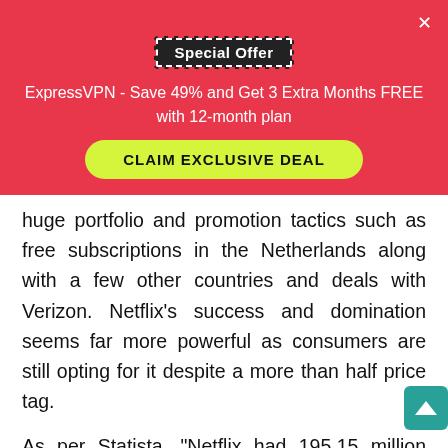[Figure (infographic): Red promotional banner for ExpressVPN with a 'Special Offer' pill label at top, close X button, promotional text, and a yellow 'CLAIM EXCLUSIVE DEAL' button]
huge portfolio and promotion tactics such as free subscriptions in the Netherlands along with a few other countries and deals with Verizon. Netflix’s success and domination seems far more powerful as consumers are still opting for it despite a more than half price tag.
As per Statista, “Netflix had 195.15 million paid subscribers worldwide as of the third quarter of 2020. Most Netflix subscribers are based in the United States, with the U.S. accounting for over 73 million of Netflix’s total global subscriber